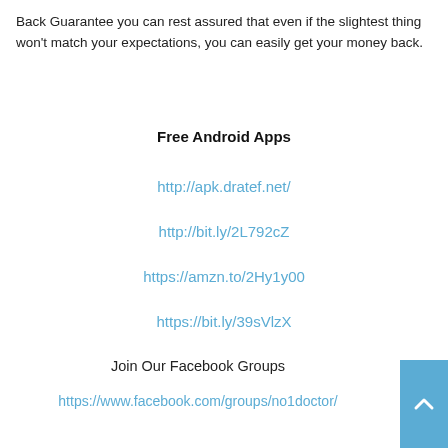Back Guarantee you can rest assured that even if the slightest thing won't match your expectations, you can easily get your money back.
Free Android Apps
http://apk.dratef.net/
http://bit.ly/2L792cZ
https://amzn.to/2Hy1y00
https://bit.ly/39sVlzX
Join Our Facebook Groups
https://www.facebook.com/groups/no1doctor/